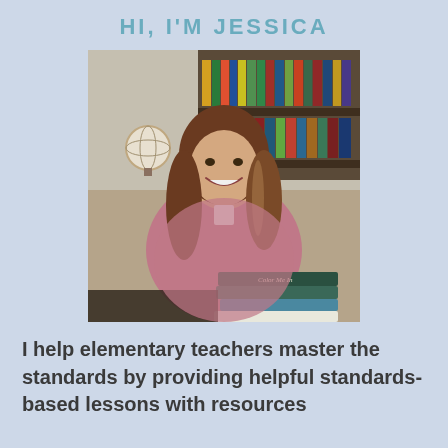HI, I'M JESSICA
[Figure (photo): A smiling woman with long brown wavy hair, wearing a pink/mauve knit cardigan, seated in front of a bookshelf filled with colorful books. She is holding a stack of books, the top one reading 'Color Me In'.]
I help elementary teachers master the standards by providing helpful standards-based lessons with resources